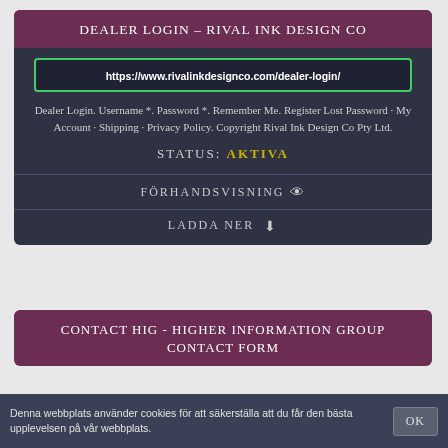DEALER LOGIN – RIVAL INK DESIGN CO
https://www.rivalinkdesignco.com/dealer-login/
Dealer Login. Username *. Password *. Remember Me. Register Lost Password · My Account · Shipping · Privacy Policy. Copyright Rival Ink Design Co Pty Ltd.
STATUS: AKTIVA
FÖRHANDSVISNING 👁
LADDA NER ⬇
CONTACT HIG - HIGHER INFORMATION GROUP CONTACT FORM
Denna webbplats använder cookies för att säkerställa att du får den bästa upplevelsen på vår webbplats.